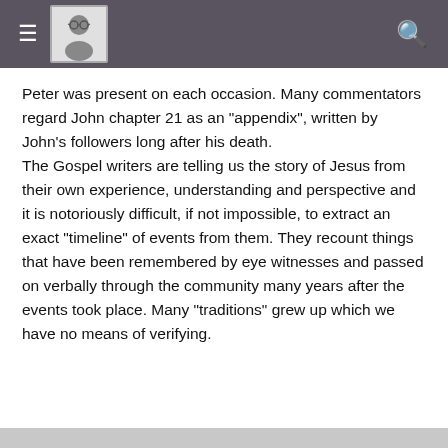[hamburger menu] [avatar photo] [search icon]
Peter was present on each occasion. Many commentators regard John chapter 21 as an "appendix", written by John's followers long after his death.
The Gospel writers are telling us the story of Jesus from their own experience, understanding and perspective and it is notoriously difficult, if not impossible, to extract an exact "timeline" of events from them. They recount things that have been remembered by eye witnesses and passed on verbally through the community many years after the events took place. Many "traditions" grew up which we have no means of verifying.